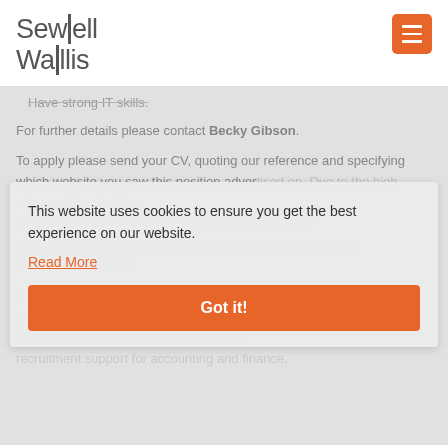Sewell Wallis
Have strong IT skills.
For further details please contact Becky Gibson.
To apply please send your CV, quoting our reference and specifying which website you saw this position advertised on. Due to the high volume of applications please accept that if we have not responded to your application within one week, we regret your application has not been successful.
Sewell Wallis is a specialist recruitment company with a significant amount of expertise in our field. We offer permanent, temporary and interim recruitment support for accounting and finance,
This website uses cookies to ensure you get the best experience on our website.
Read More
Got it!